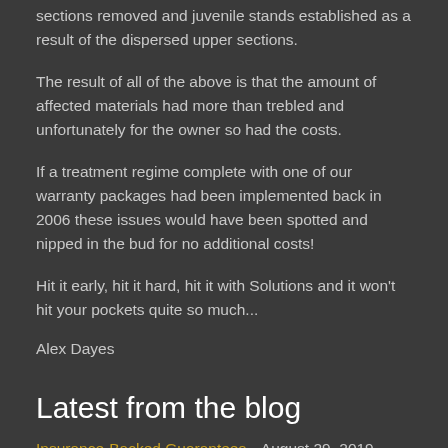sections removed and juvenile stands established as a result of the dispersed upper sections.
The result of all of the above is that the amount of affected materials had more than trebled and unfortunately for the owner so had the costs.
If a treatment regime complete with one of our warranty packages had been implemented back in 2006 these issues would have been spotted and nipped in the bud for no additional costs!
Hit it early, hit it hard, hit it with Solutions and it won't hit your pockets quite so much...
Alex Dayes
Latest from the blog
Insurance-Backed Guarantees   August 29, 2019